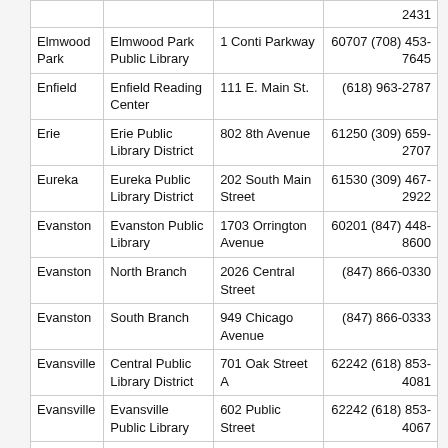| City | Library | Address | ZIP/Phone |
| --- | --- | --- | --- |
|  |  |  | 2431 |
| Elmwood Park | Elmwood Park Public Library | 1 Conti Parkway | 60707 (708) 453-7645 |
| Enfield | Enfield Reading Center | 111 E. Main St. | (618) 963-2787 |
| Erie | Erie Public Library District | 802 8th Avenue | 61250 (309) 659-2707 |
| Eureka | Eureka Public Library District | 202 South Main Street | 61530 (309) 467-2922 |
| Evanston | Evanston Public Library | 1703 Orrington Avenue | 60201 (847) 448-8600 |
| Evanston | North Branch | 2026 Central Street | (847) 866-0330 |
| Evanston | South Branch | 949 Chicago Avenue | (847) 866-0333 |
| Evansville | Central Public Library District | 701 Oak Street A | 62242 (618) 853-4081 |
| Evansville | Evansville Public Library | 602 Public Street | 62242 (618) 853-4067 |
| Evergreen Park | Evergreen Park Public Library | 9400 South Troy Avenue | 60805 (708) 422-8522 |
| Fabius | Dominy | 201 South | 61701 (815) |